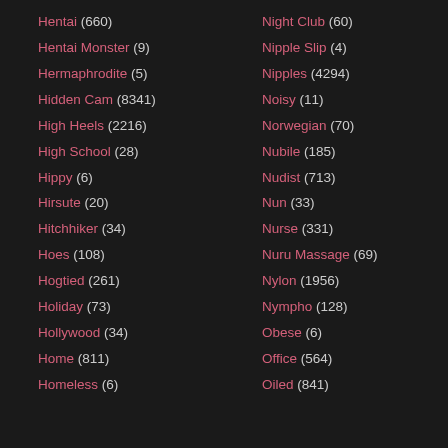Hentai (660)
Hentai Monster (9)
Hermaphrodite (5)
Hidden Cam (8341)
High Heels (2216)
High School (28)
Hippy (6)
Hirsute (20)
Hitchhiker (34)
Hoes (108)
Hogtied (261)
Holiday (73)
Hollywood (34)
Home (811)
Homeless (6)
Night Club (60)
Nipple Slip (4)
Nipples (4294)
Noisy (11)
Norwegian (70)
Nubile (185)
Nudist (713)
Nun (33)
Nurse (331)
Nuru Massage (69)
Nylon (1956)
Nympho (128)
Obese (6)
Office (564)
Oiled (841)